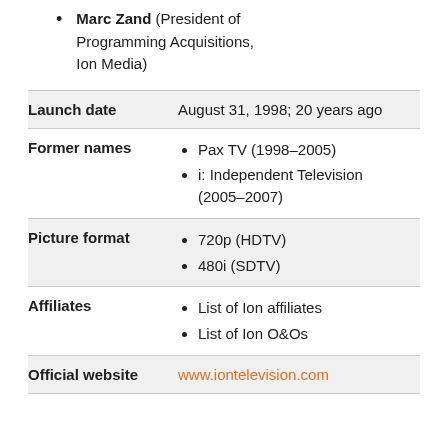Marc Zand (President of Programming Acquisitions, Ion Media)
| Field | Value |
| --- | --- |
| Launch date | August 31, 1998; 20 years ago |
| Former names | Pax TV (1998–2005)
i: Independent Television (2005–2007) |
| Picture format | 720p (HDTV)
480i (SDTV) |
| Affiliates | List of Ion affiliates
List of Ion O&Os |
| Official website | www.iontelevision.com |